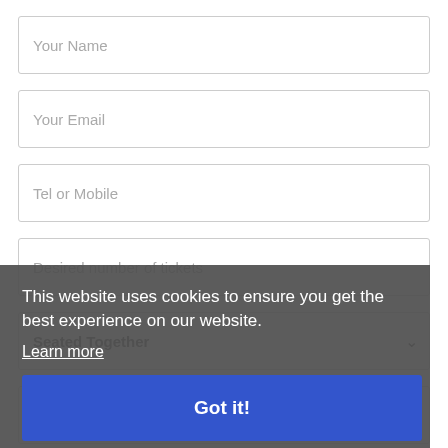Your Name
Your Email
Tel or Mobile
Desired number of tickets
Seated Together
Bayern Munich side
Message
This website uses cookies to ensure you get the best experience on our website.
Learn more
Got it!